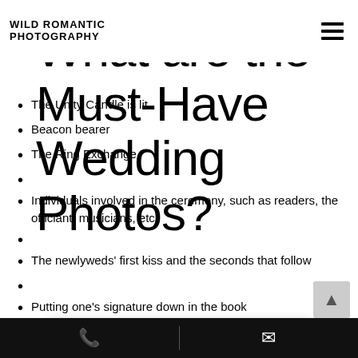WILD ROMANTIC PHOTOGRAPHY
What are the Must-Have Wedding Photos?
The Unity Candle is lit.
Beacon bearer
The Ring Exchange
Individuals involved in the ceremony, such as readers, the officiant, musicians, etc.
The newlyweds' first kiss and the seconds that follow
Putting one's signature down in the book
Recessional/walk couple's back
[Figure (other): Google Rating widget showing 5.0 stars based on 267 reviews]
Phone and mail contact buttons